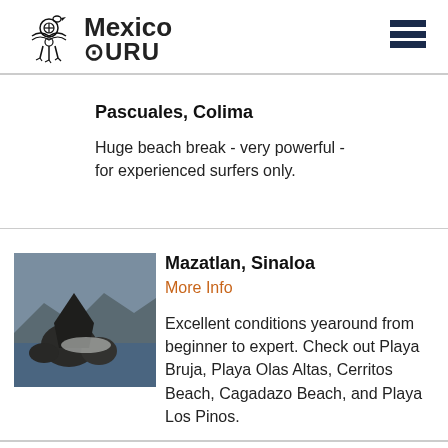Mexico Guru
Pascuales, Colima
Huge beach break - very powerful - for experienced surfers only.
[Figure (photo): Coastal rocky landscape with large rock formations on a beach, mountains in background, Mazatlan Sinaloa]
Mazatlan, Sinaloa
More Info
Excellent conditions yearound from beginner to expert. Check out Playa Bruja, Playa Olas Altas, Cerritos Beach, Cagadazo Beach, and Playa Los Pinos.